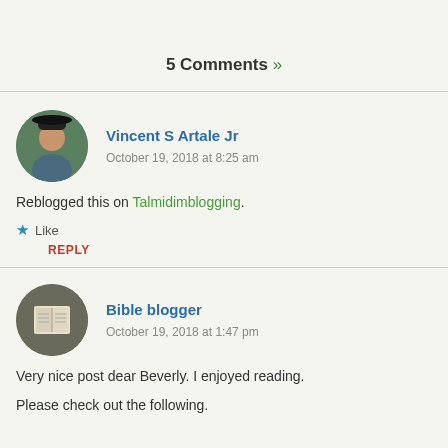5 Comments »
Vincent S Artale Jr
October 19, 2018 at 8:25 am
Reblogged this on Talmidimblogging.
★ Like
REPLY
Bible blogger
October 19, 2018 at 1:47 pm
Very nice post dear Beverly. I enjoyed reading.
Please check out the following.